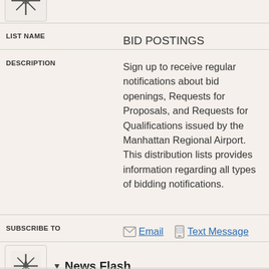[Figure (logo): Airport/navigation icon — compass-like symbol in a rounded square box, partially cropped at top]
| Field | Value |
| --- | --- |
| LIST NAME | BID POSTINGS |
| DESCRIPTION | Sign up to receive regular notifications about bid openings, Requests for Proposals, and Requests for Qualifications issued by the Manhattan Regional Airport. This distribution lists provides information regarding all types of bidding notifications. |
| SUBSCRIBE TO | Email  Text Message |
[Figure (logo): Manhattan Regional Airport icon — compass/navigation symbol in a rounded square box]
▼ News Flash
| Field | Value |
| --- | --- |
| LIST NAME | MHK News |
| DESCRIPTION | Sign up to receive news updates |